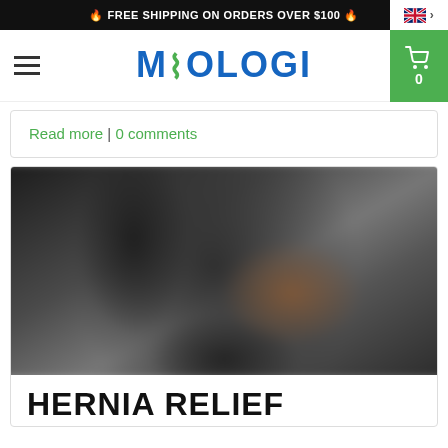🔥FREE SHIPPING ON ORDERS OVER $100 🔥
[Figure (logo): Miologi brand logo with DNA icon between M and OLOGI letters in blue, navigation hamburger menu on left, shopping cart button on right showing 0 items]
Read more | 0 comments
[Figure (photo): Blurred photo of a person, used as article header image for Hernia Relief article]
HERNIA RELIEF